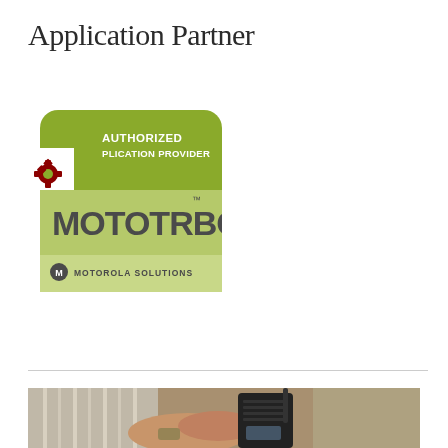Application Partner
[Figure (logo): Motorola Solutions MOTOTRBO Authorized Application Provider badge/logo. Green rounded rectangle badge with white text reading 'AUTHORIZED APPLICATION PROVIDER' and 'MOTOTRBO' in large bold text. Small white square with red gear icon in upper left corner. Motorola Solutions logo at the bottom.]
[Figure (photo): A person holding a Motorola MOTOTRBO two-way radio/walkie-talkie. The hand and wrist (with a watch) are visible holding the black radio device with antenna extended. Background shows a blurred indoor scene.]